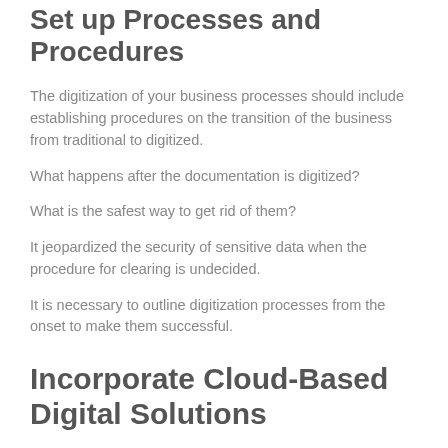Set up Processes and Procedures
The digitization of your business processes should include establishing procedures on the transition of the business from traditional to digitized.
What happens after the documentation is digitized?
What is the safest way to get rid of them?
It jeopardized the security of sensitive data when the procedure for clearing is undecided.
It is necessary to outline digitization processes from the onset to make them successful.
Incorporate Cloud-Based Digital Solutions